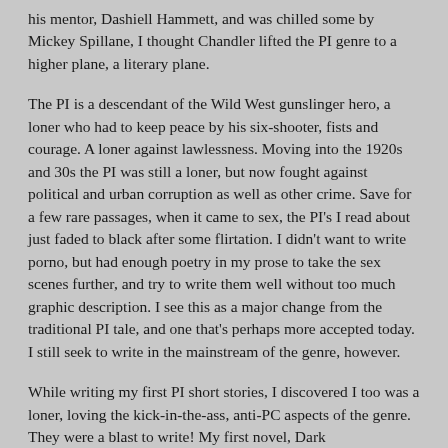his mentor, Dashiell Hammett, and was chilled some by Mickey Spillane, I thought Chandler lifted the PI genre to a higher plane, a literary plane.
The PI is a descendant of the Wild West gunslinger hero, a loner who had to keep peace by his six-shooter, fists and courage. A loner against lawlessness. Moving into the 1920s and 30s the PI was still a loner, but now fought against political and urban corruption as well as other crime. Save for a few rare passages, when it came to sex, the PI's I read about just faded to black after some flirtation. I didn't want to write porno, but had enough poetry in my prose to take the sex scenes further, and try to write them well without too much graphic description. I see this as a major change from the traditional PI tale, and one that's perhaps more accepted today. I still seek to write in the mainstream of the genre, however.
While writing my first PI short stories, I discovered I too was a loner, loving the kick-in-the-ass, anti-PC aspects of the genre. They were a blast to write! My first novel, Dark [continues...]